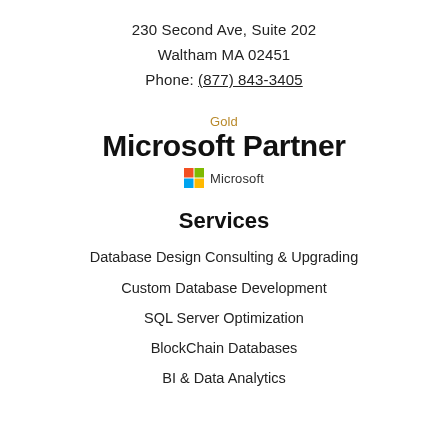230 Second Ave, Suite 202
Waltham MA 02451
Phone: (877) 843-3405
[Figure (logo): Gold Microsoft Partner badge with Microsoft four-color square logo]
Services
Database Design Consulting & Upgrading
Custom Database Development
SQL Server Optimization
BlockChain Databases
BI & Data Analytics